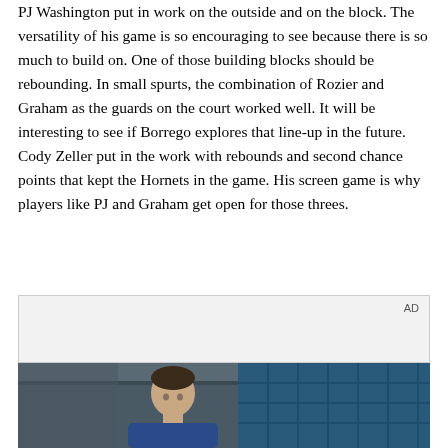PJ Washington put in work on the outside and on the block. The versatility of his game is so encouraging to see because there is so much to build on. One of those building blocks should be rebounding. In small spurts, the combination of Rozier and Graham as the guards on the court worked well. It will be interesting to see if Borrego explores that line-up in the future. Cody Zeller put in the work with rebounds and second chance points that kept the Hornets in the game. His screen game is why players like PJ and Graham get open for those threes.
[Figure (other): Advertisement placeholder box with 'AD' label in top right corner, light gray background]
[Figure (photo): Photo of a young man looking downward, with blue tiled wall in the background, dark teal/blue tones]